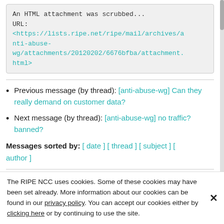An HTML attachment was scrubbed...
URL:
<https://lists.ripe.net/ripe/mail/archives/anti-abuse-wg/attachments/20120202/6676bfba/attachment.html>
Previous message (by thread): [anti-abuse-wg] Can they really demand on customer data?
Next message (by thread): [anti-abuse-wg] no traffic? banned?
Messages sorted by: [ date ] [ thread ] [ subject ] [ author ]
[ anti-abuse-wg Archives ]
The RIPE NCC uses cookies. Some of these cookies may have been set already. More information about our cookies can be found in our privacy policy. You can accept our cookies either by clicking here or by continuing to use the site.